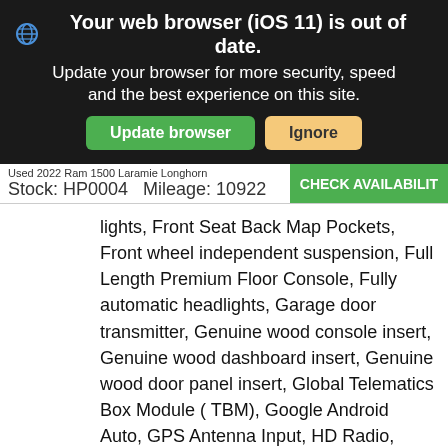Your web browser (iOS 11) is out of date. Update your browser for more security, speed and the best experience on this site.
Used 2022 Ram 1500 Laramie Longhorn
Stock: HP0004   Mileage: 10922
CHECK AVAILABILITY
lights, Front Seat Back Map Pockets, Front wheel independent suspension, Full Length Premium Floor Console, Fully automatic headlights, Garage door transmitter, Genuine wood console insert, Genuine wood dashboard insert, Genuine wood door panel insert, Global Telematics Box Module ( TBM), Google Android Auto, GPS Antenna Input, HD Radio, Heated door mirrors, Heated Front Seats, Heated front seats, Heated rear seats, Heated Second Row Seats, Heated Steering Wheel, Heated steering wheel, Illuminated entry, Integrated Center Stack Radio, Integrated Voice Command w/Bluetooth, Leather steering wheel, Leather Trimmed Bucket Seats, Low tire pressure warning, Memory seat, Occupant sensing airbag,